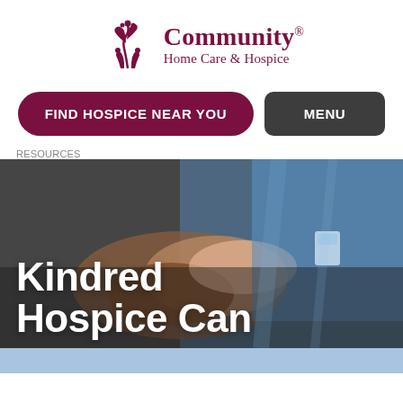[Figure (logo): Community Home Care & Hospice logo with decorative plant/figure icon in dark red/maroon]
[Figure (other): Navigation bar with 'FIND HOSPICE NEAR YOU' maroon rounded button and 'MENU' dark grey button]
RESOURCES
[Figure (photo): Hero image of a healthcare worker in blue scrubs holding the hands of an elderly patient. Overlay text reads 'Kindred Hospice Can']
Kindred Hospice Can